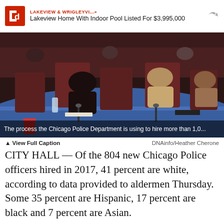LAKEVIEW & WRIGLEYVI...» | Lakeview Home With Indoor Pool Listed For $3,995,000
[Figure (photo): City council chamber scene with officials seated at a blue curved table with microphones; overlaid caption text reads 'The process the Chicago Police Department is using to hire more than 1,0...']
▲ View Full Caption   DNAinfo/Heather Cherone
CITY HALL — Of the 804 new Chicago Police officers hired in 2017, 41 percent are white, according to data provided to aldermen Thursday. Some 35 percent are Hispanic, 17 percent are black and 7 percent are Asian.
The aldermen were told Ald. Arellano-Redy (3d)...